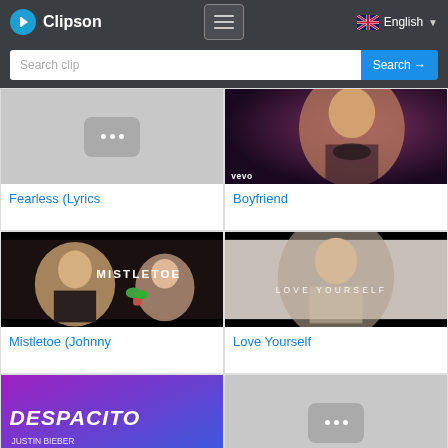Clipson
Search clip
[Figure (screenshot): Fearless (Lyrics - placeholder thumbnail]
Fearless (Lyrics
[Figure (screenshot): Boyfriend - Justin Bieber video thumbnail with vevo label]
Boyfriend
[Figure (screenshot): Mistletoe (Johnny - music video thumbnail]
Mistletoe (Johnny
[Figure (screenshot): Love Yourself - Justin Bieber video thumbnail]
Love Yourself
[Figure (screenshot): Despacito - Justin Bieber thumbnail with purple/blue gradient]
[Figure (screenshot): Placeholder thumbnail with three dots]